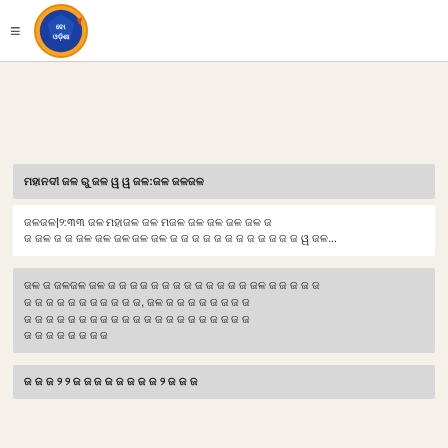ବୋ ଓଡ଼ିଶା (Logo)
ମହାନଦୀ ଜଳ ରୁ ଜଳ ୱ ୱ ଜଳ:ଜଳ ଜଳଜଳ
ଜଳଜଳ|୨:୩୩ ଜଳ ମହାଜଳ ଜଳ ମଜଳ ଜଳ ଜଳ ଜଳ ଜଳ ଜ ଜଳ ଜଳ ଜ ଜଳ ଜଳ ଜଳ ଜଳ ଜଳ ଜଳ ଜ ଜ ଜଳ ୱ ଜଳ...
ଜଳ ଜ ଜଳଜଳ ଜଳ ଜ ଜ ଜ ଜ ଜଳ ଜ ଜଳ ଜ ଜ ଜ ଜ ଜ ଜଳ, ଜଳ ଜ ଜ ଜ ଜ ଜ ଜ ଜ ଜ ଜ ଜ ଜ ଜ ଜ ଜ ଜ ଜ ଜ ଜ ଜ ଜ ଜ ଜ ଜ
ଜ ଜ ଜ ୨ ୨ ଜ ଜ ଜ ଜ ଜ ଜ ଜ ଜ ୨ ଜ ଜ ଜ